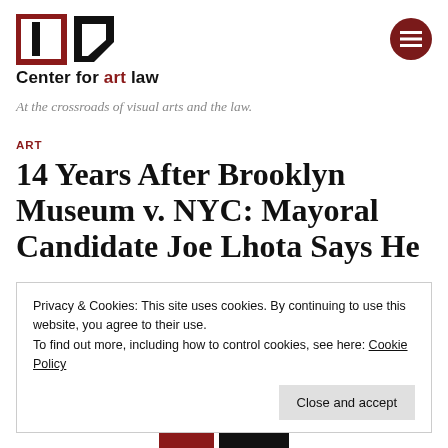Center for art law
At the crossroads of visual arts and the law.
ART
14 Years After Brooklyn Museum v. NYC: Mayoral Candidate Joe Lhota Says He
Privacy & Cookies: This site uses cookies. By continuing to use this website, you agree to their use.
To find out more, including how to control cookies, see here: Cookie Policy
Close and accept